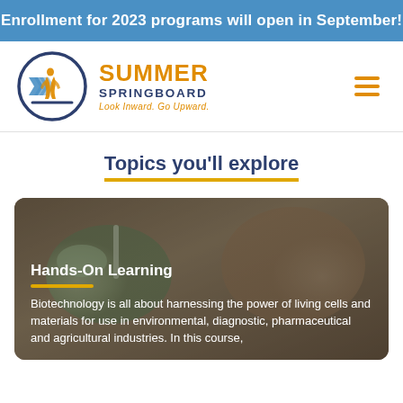Enrollment for 2023 programs will open in September!
[Figure (logo): Summer Springboard logo: circular emblem with stylized figures and arrows in blue and orange, beside text 'SUMMER SPRINGBOARD — Look Inward. Go Upward.']
Topics you'll explore
[Figure (photo): Close-up photo of a gloved hand holding a laboratory sample, with a blurred figure in the background. Overlay text: 'Hands-On Learning' with orange underline. Text below: 'Biotechnology is all about harnessing the power of living cells and materials for use in environmental, diagnostic, pharmaceutical and agricultural industries. In this course,']